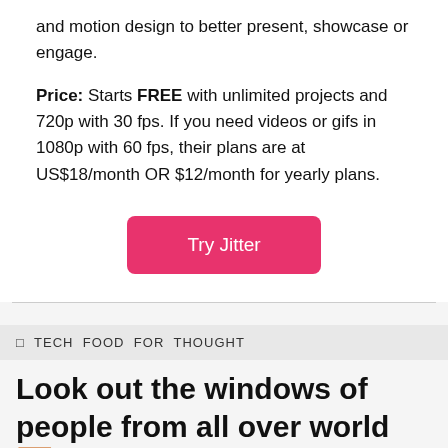and motion design to better present, showcase or engage.
Price: Starts FREE with unlimited projects and 720p with 30 fps. If you need videos or gifs in 1080p with 60 fps, their plans are at US$18/month OR $12/month for yearly plans.
[Figure (other): Pink rounded button labeled 'Try Jitter']
🔲 TECH FOOD FOR THOUGHT
Look out the windows of people from all over world 🪟